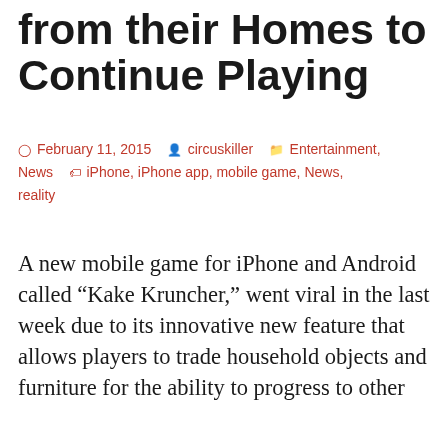from their Homes to Continue Playing
February 11, 2015   circuskiller   Entertainment, News   iPhone, iPhone app, mobile game, News, reality
A new mobile game for iPhone and Android called “Kake Kruncher,” went viral in the last week due to its innovative new feature that allows players to trade household objects and furniture for the ability to progress to other
Privacy & Cookies: This site uses cookies. By continuing to use this website, you agree to their use.
To find out more, including how to control cookies, see here: Cookie Policy
Close and accept
spends his days reviewing iPhone apps. “What I